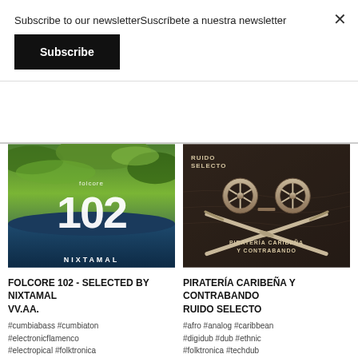Subscribe to our newsletterSuscríbete a nuestra newsletter
Subscribe
[Figure (illustration): Album cover for Folcore 102 by Nixtamal – green mossy texture with bold white '102' and 'NIXTAMAL' text]
[Figure (illustration): Album cover for Piratería Caribeña Y Contrabando by Ruido Selecto – dark background with two tape reels styled as skull crossbones with crossed swords]
FOLCORE 102 - SELECTED BY NIXTAMAL
VV.AA.
PIRATERÍA CARIBEÑA Y CONTRABANDO
RUIDO SELECTO
#cumbiabass #cumbiaton #electronicflamenco #electropical #folktronica #globalbass #moombah
#afro #analog #caribbean #digidub #dub #ethnic #folktronica #techdub